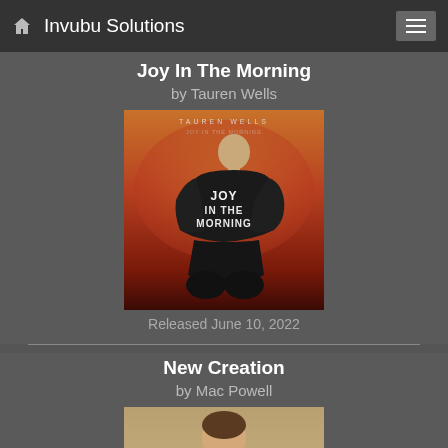Invubu Solutions
Joy In The Morning
by Tauren Wells
[Figure (photo): Album cover for 'Joy In The Morning' by Tauren Wells. Shows a person in a black leather jacket with 'JOY IN THE MORNING' written on the back in glowing text, kneeling against a red/orange gradient background. Text 'TAUREN WELLS' at top.]
Released June 10, 2022
New Creation
by Mac Powell
[Figure (photo): Album cover for 'New Creation' by Mac Powell. Partially visible at bottom of page.]